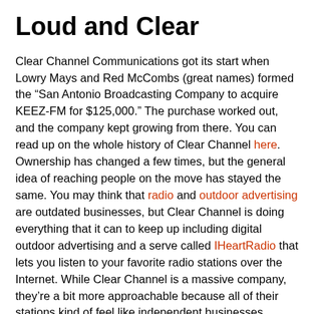Loud and Clear
Clear Channel Communications got its start when Lowry Mays and Red McCombs (great names) formed the “San Antonio Broadcasting Company to acquire KEEZ-FM for $125,000.” The purchase worked out, and the company kept growing from there. You can read up on the whole history of Clear Channel here. Ownership has changed a few times, but the general idea of reaching people on the move has stayed the same. You may think that radio and outdoor advertising are outdated businesses, but Clear Channel is doing everything that it can to keep up including digital outdoor advertising and a serve called IHeartRadio that lets you listen to your favorite radio stations over the Internet. While Clear Channel is a massive company, they’re a bit more approachable because all of their stations kind of feel like independent businesses. Luckily, Clear Channel Communications lists all of its job opportunities across stations and business units on